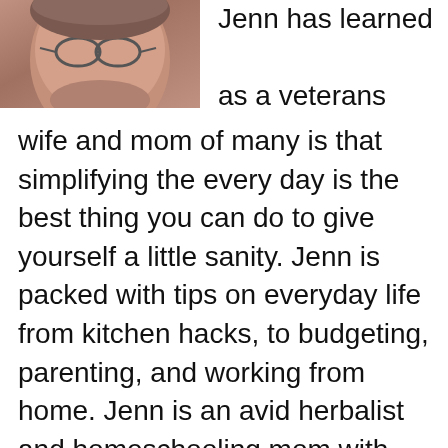[Figure (photo): Close-up photo of a person wearing glasses, partial view of face]
Jenn has learned as a veterans wife and mom of many is that simplifying the every day is the best thing you can do to give yourself a little sanity. Jenn is packed with tips on everyday life from kitchen hacks, to budgeting, parenting, and working from home. Jenn is an avid herbalist and homeschooling mom with tips and tricks for busy moms looking to simplify life.